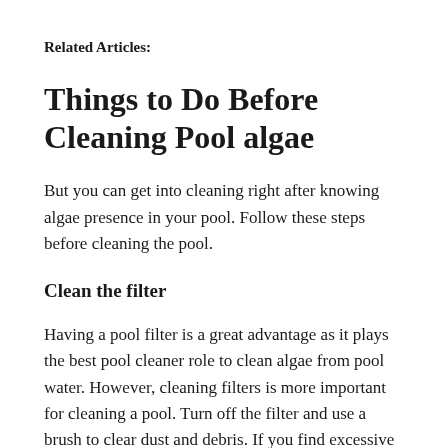Related Articles:
Things to Do Before Cleaning Pool algae
But you can get into cleaning right after knowing algae presence in your pool. Follow these steps before cleaning the pool.
Clean the filter
Having a pool filter is a great advantage as it plays the best pool cleaner role to clean algae from pool water. However, cleaning filters is more important for cleaning a pool. Turn off the filter and use a brush to clear dust and debris. If you find excessive dirt, use a garden hose to